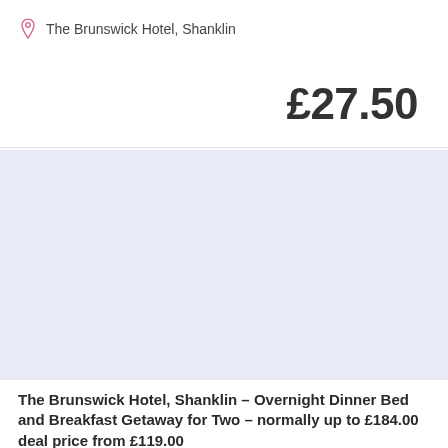The Brunswick Hotel, Shanklin
£27.50
[Figure (photo): Light blue/lavender placeholder image area for hotel photo]
The Brunswick Hotel, Shanklin – Overnight Dinner Bed and Breakfast Getaway for Two – normally up to £184.00 deal price from £119.00